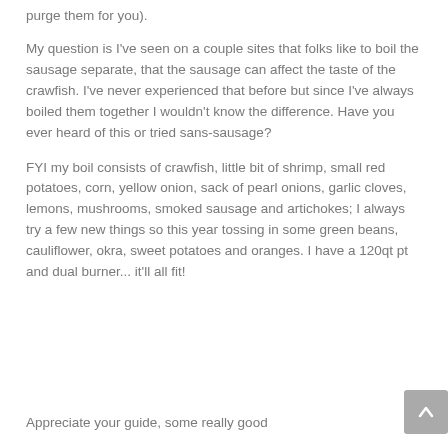purge them for you).
My question is I've seen on a couple sites that folks like to boil the sausage separate, that the sausage can affect the taste of the crawfish. I've never experienced that before but since I've always boiled them together I wouldn't know the difference. Have you ever heard of this or tried sans-sausage?
FYI my boil consists of crawfish, little bit of shrimp, small red potatoes, corn, yellow onion, sack of pearl onions, garlic cloves, lemons, mushrooms, smoked sausage and artichokes; I always try a few new things so this year tossing in some green beans, cauliflower, okra, sweet potatoes and oranges. I have a 120qt pt and dual burner... it'll all fit!
Appreciate your guide, some really good